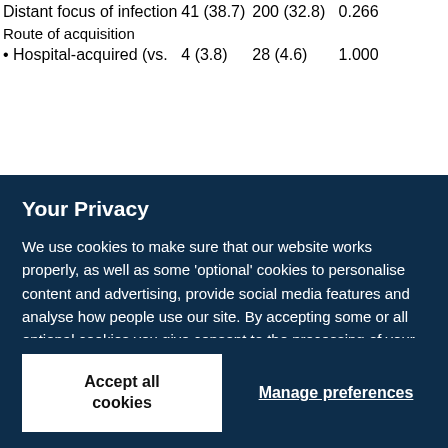|  |  |  |  |
| --- | --- | --- | --- |
| Distant focus of infection | 41 (38.7) | 200 (32.8) | 0.266 |
| Route of acquisition |  |  |  |
| • Hospital-acquired (vs. | 4 (3.8) | 28 (4.6) | 1.000 |
Your Privacy
We use cookies to make sure that our website works properly, as well as some 'optional' cookies to personalise content and advertising, provide social media features and analyse how people use our site. By accepting some or all optional cookies you give consent to the processing of your personal data, including transfer to third parties, some in countries outside of the European Economic Area that do not offer the same data protection standards as the country where you live. You can decide which optional cookies to accept by clicking on 'Manage Settings', where you can also find more information about how your personal data is processed. Further information can be found in our privacy policy.
Accept all cookies
Manage preferences